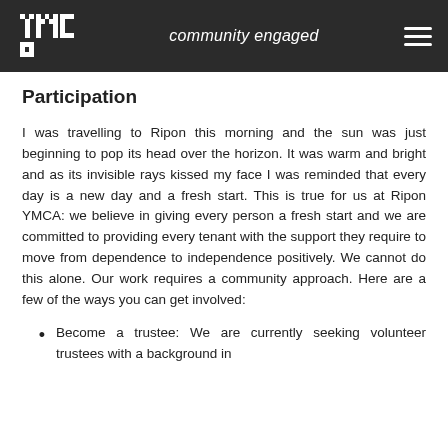YMCA   community engaged
Participation
I was travelling to Ripon this morning and the sun was just beginning to pop its head over the horizon. It was warm and bright and as its invisible rays kissed my face I was reminded that every day is a new day and a fresh start. This is true for us at Ripon YMCA: we believe in giving every person a fresh start and we are committed to providing every tenant with the support they require to move from dependence to independence positively. We cannot do this alone. Our work requires a community approach. Here are a few of the ways you can get involved:
Become a trustee: We are currently seeking volunteer trustees with a background in